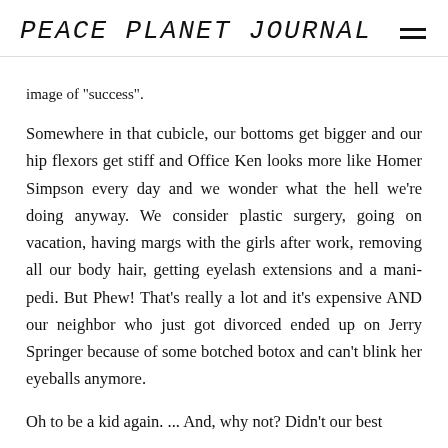PEACE PLANET JOURNAL
image of "success".
Somewhere in that cubicle, our bottoms get bigger and our hip flexors get stiff and Office Ken looks more like Homer Simpson every day and we wonder what the hell we're doing anyway. We consider plastic surgery, going on vacation, having margs with the girls after work, removing all our body hair, getting eyelash extensions and a mani-pedi. But Phew! That's really a lot and it's expensive AND our neighbor who just got divorced ended up on Jerry Springer because of some botched botox and can't blink her eyeballs anymore.
Oh to be a kid again. ... And, why not? Didn't our best